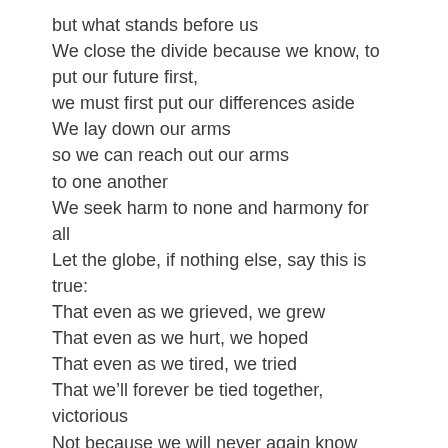but what stands before us
We close the divide because we know, to put our future first,
we must first put our differences aside
We lay down our arms
so we can reach out our arms
to one another
We seek harm to none and harmony for all
Let the globe, if nothing else, say this is true:
That even as we grieved, we grew
That even as we hurt, we hoped
That even as we tired, we tried
That we'll forever be tied together, victorious
Not because we will never again know defeat
but because we will never again sow division
Scripture tells us to envision
that everyone shall sit under their own